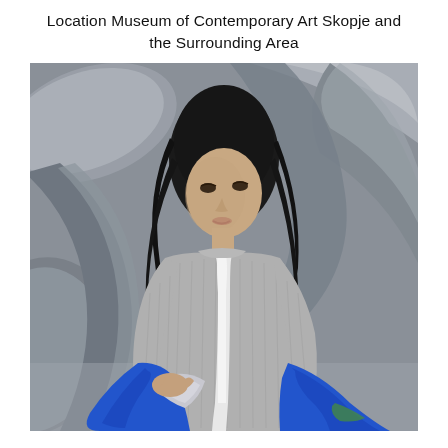Location Museum of Contemporary Art Skopje and the Surrounding Area
[Figure (photo): A fashion photograph of a dark-haired woman wearing a grey ribbed knit turtleneck sweater with a reflective white strap and red collar detail, holding blue and silver bags. She is seated among large curved grey sculptural forms in the Museum of Contemporary Art Skopje.]